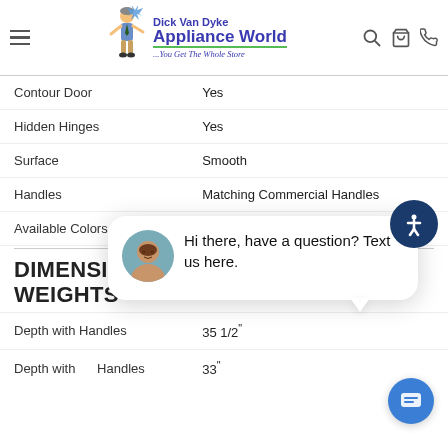Dick Van Dyke Appliance World ...You Get The Whole Store
| Feature | Value |
| --- | --- |
| Contour Door | Yes |
| Hidden Hinges | Yes |
| Surface | Smooth |
| Handles | Matching Commercial Handles |
| Available Colors | Stainless Steel |
DIMENSIONS & WEIGHTS
| Feature | Value |
| --- | --- |
| Depth with Handles | 35 1/2" |
| Depth without Handles | 33" |
[Figure (screenshot): Chat popup with avatar saying 'Hi there, have a question? Text us here.']